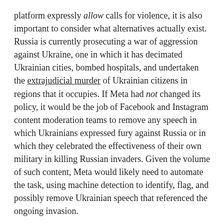platform expressly allow calls for violence, it is also important to consider what alternatives actually exist. Russia is currently prosecuting a war of aggression against Ukraine, one in which it has decimated Ukrainian cities, bombed hospitals, and undertaken the extrajudicial murder of Ukrainian citizens in regions that it occupies. If Meta had not changed its policy, it would be the job of Facebook and Instagram content moderation teams to remove any speech in which Ukrainians expressed fury against Russia or in which they celebrated the effectiveness of their own military in killing Russian invaders. Given the volume of such content, Meta would likely need to automate the task, using machine detection to identify, flag, and possibly remove Ukrainian speech that referenced the ongoing invasion.
Such a censorship regime– to the extent that it could be effectively enforced, given the likely volume of